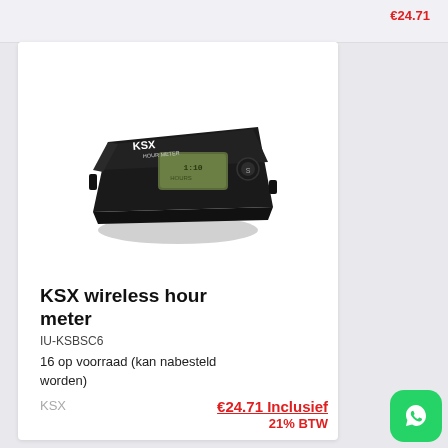[Figure (photo): KSX wireless hour meter device - small black rectangular electronic device with LCD display showing 'HOURS' and KSX branding on top]
KSX wireless hour meter
IU-KSBSC6
16 op voorraad (kan nabesteld worden)
KSX
€24.71 Inclusief 21% BTW